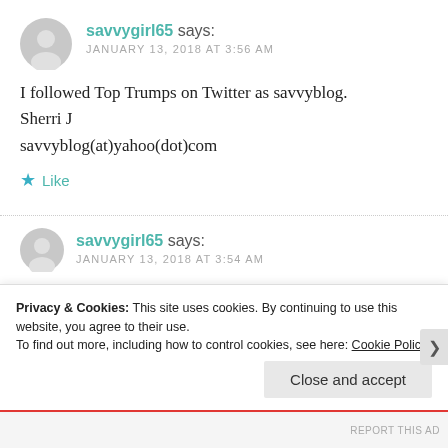[Figure (illustration): Gray circular avatar placeholder icon for user savvygirl65]
savvygirl65 says:
JANUARY 13, 2018 AT 3:56 AM
I followed Top Trumps on Twitter as savvyblog.
Sherri J
savvyblog(at)yahoo(dot)com
★ Like
[Figure (illustration): Gray circular avatar placeholder icon for user savvygirl65 (second comment)]
savvygirl65 says:
JANUARY 13, 2018 AT 3:54 AM
Privacy & Cookies: This site uses cookies. By continuing to use this website, you agree to their use.
To find out more, including how to control cookies, see here: Cookie Policy
Close and accept